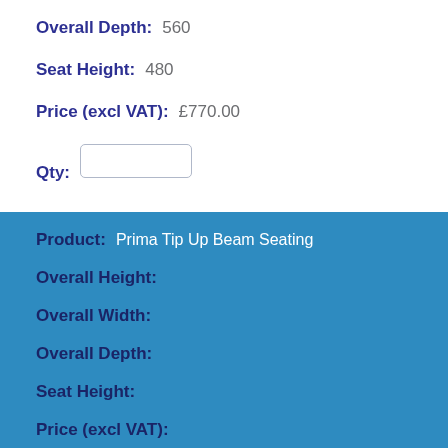Overall Depth: 560
Seat Height: 480
Price (excl VAT): £770.00
Qty:
Product: Prima Tip Up Beam Seating
Overall Height:
Overall Width:
Overall Depth:
Seat Height:
Price (excl VAT):